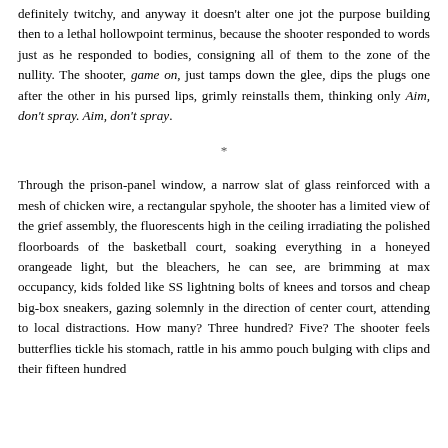definitely twitchy, and anyway it doesn't alter one jot the purpose building then to a lethal hollowpoint terminus, because the shooter responded to words just as he responded to bodies, consigning all of them to the zone of the nullity. The shooter, game on, just tamps down the glee, dips the plugs one after the other in his pursed lips, grimly reinstalls them, thinking only Aim, don't spray. Aim, don't spray.
*
Through the prison-panel window, a narrow slat of glass reinforced with a mesh of chicken wire, a rectangular spyhole, the shooter has a limited view of the grief assembly, the fluorescents high in the ceiling irradiating the polished floorboards of the basketball court, soaking everything in a honeyed orangeade light, but the bleachers, he can see, are brimming at max occupancy, kids folded like SS lightning bolts of knees and torsos and cheap big-box sneakers, gazing solemnly in the direction of center court, attending to local distractions. How many? Three hundred? Five? The shooter feels butterflies tickle his stomach, rattle in his ammo pouch bulging with clips and their fifteen hundred